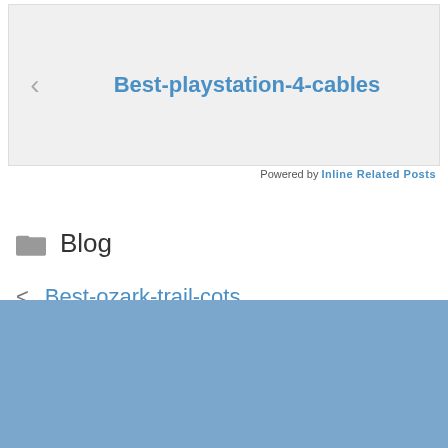[Figure (screenshot): Navigation widget with left arrow and link text 'Best-playstation-4-cables' on grey background]
Powered by Inline Related Posts
Blog
< Best-ozark-trail-cots
> Best Chair For Arthritis 2022
Search
Search (input and button)